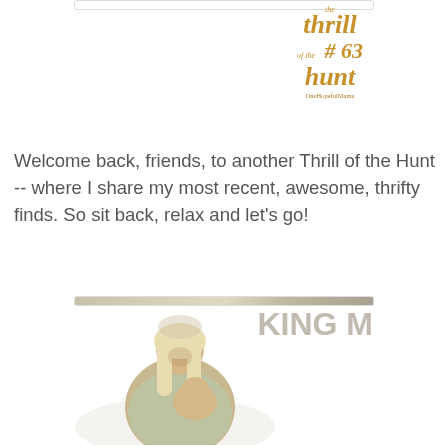[Figure (photo): Banner image for 'Thrill of the Hunt #63' blog post header with pink background and gold cursive lettering, quilted pattern on left side, and website watermark.]
Welcome back, friends, to another Thrill of the Hunt -- where I share my most recent, awesome, thrifty finds. So sit back, relax and let's go!
[Figure (photo): A ceramic or porcelain Madonna and Child figurine/statue with blonde hair, shown against a soft background with fluffy white fur and a pillow that partially reads text in the background.]